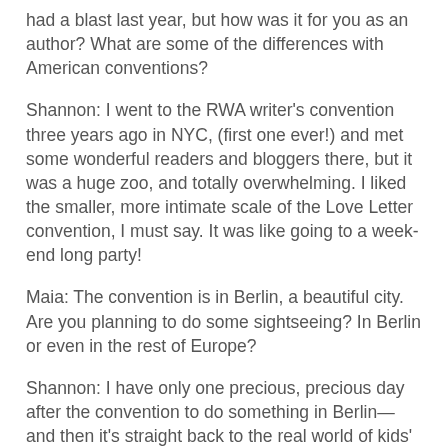had a blast last year, but how was it for you as an author? What are some of the differences with American conventions?
Shannon: I went to the RWA writer's convention three years ago in NYC, (first one ever!) and met some wonderful readers and bloggers there, but it was a huge zoo, and totally overwhelming. I liked the smaller, more intimate scale of the Love Letter convention, I must say. It was like going to a week-end long party!
Maia: The convention is in Berlin, a beautiful city. Are you planning to do some sightseeing? In Berlin or even in the rest of Europe?
Shannon: I have only one precious, precious day after the convention to do something in Berlin—and then it's straight back to the real world of kids' schedules and book deadlines.
Aurian: There is a lovely group of authors coming this year. Last year you came with your friend and fellow author Lisa Marie Rice. Do you personally know any of the new authors